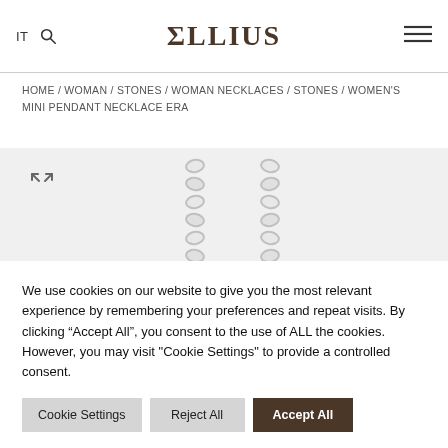IT [search] ELLIUS [menu]
HOME / WOMAN / STONES / WOMAN NECKLACES / STONES / WOMEN'S MINI PENDANT NECKLACE ERA
[Figure (photo): Partial view of a silver chain necklace on a light gray background, with an expand/fullscreen icon in the top-left corner.]
We use cookies on our website to give you the most relevant experience by remembering your preferences and repeat visits. By clicking “Accept All”, you consent to the use of ALL the cookies. However, you may visit "Cookie Settings" to provide a controlled consent.